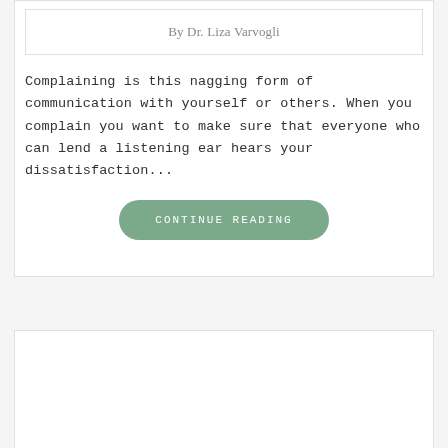By Dr. Liza Varvogli
Complaining is this nagging form of communication with yourself or others. When you complain you want to make sure that everyone who can lend a listening ear hears your dissatisfaction...
CONTINUE READING